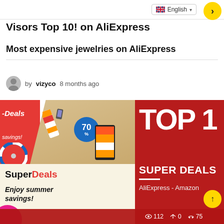English
Visors Top 10! on AliExpress
Most expensive jewelries on AliExpress
by vizyco 8 months ago
[Figure (photo): AliExpress Super Deals promotional banner showing summer savings with 70% off badge, products on beach, and TOP 1 SUPER DEALS text on red background with AliExpress - Amazon label]
112  0  75